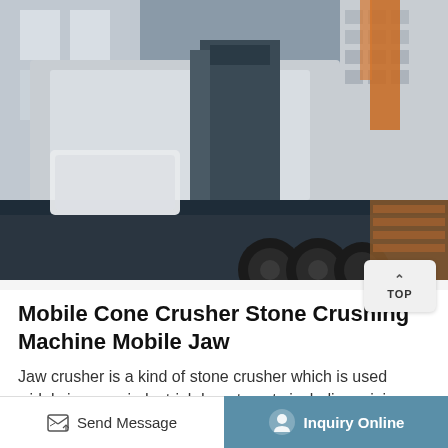[Figure (photo): Large mobile cone crusher / jaw crusher machine loaded on a heavy transport truck, photographed outdoors. The machine is white/grey metal, with a building visible in the background on the right side. Various equipment and wrapped materials are visible on the truck bed.]
Mobile Cone Crusher Stone Crushing Machine Mobile Jaw
Jaw crusher is a kind of stone crusher which is used widely in many industrial departments including mining, smelt metal, building materials, public road, railway, water conservation, chemical industry and so on, and it is also called rock
Send Message
Inquiry Online